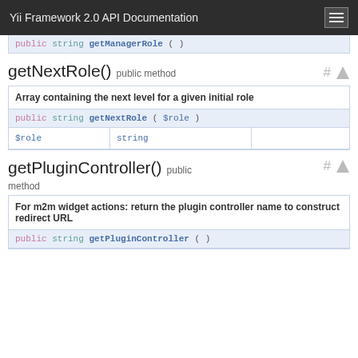Yii Framework 2.0 API Documentation
public string getManagerRole ( )
getNextRole()  public method
|  |  |  |
| --- | --- | --- |
| Array containing the next level for a given initial role |  |  |
| public string getNextRole ( $role ) |  |  |
| $role | string |  |
getPluginController()  public method
|  |  |  |
| --- | --- | --- |
| For m2m widget actions: return the plugin controller name to construct redirect URL |  |  |
| public string getPluginController ( ) |  |  |